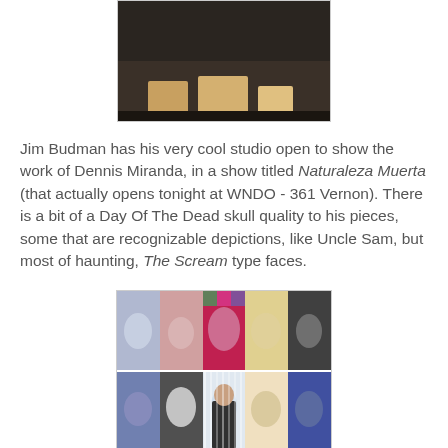[Figure (photo): Partial photo showing feet/legs of people on a dark floor, cropped at top of page]
Jim Budman has his very cool studio open to show the work of Dennis Miranda, in a show titled Naturaleza Muerta (that actually opens tonight at WNDO - 361 Vernon). There is a bit of a Day Of The Dead skull quality to his pieces, some that are recognizable depictions, like Uncle Sam, but most of haunting, The Scream type faces.
[Figure (photo): Collage of colorful skull and face paintings by Dennis Miranda displayed on a wall, with the artist standing in front of them]